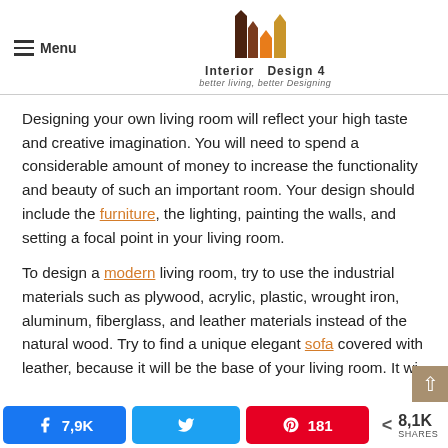Menu | Interior Design 4 - better living, better Designing
Designing your own living room will reflect your high taste and creative imagination. You will need to spend a considerable amount of money to increase the functionality and beauty of such an important room. Your design should include the furniture, the lighting, painting the walls, and setting a focal point in your living room.
To design a modern living room, try to use the industrial materials such as plywood, acrylic, plastic, wrought iron, aluminum, fiberglass, and leather materials instead of the natural wood. Try to find a unique elegant sofa covered with leather, because it will be the base of your living room. It wi
7,9K shares on Facebook | Twitter | 181 Pinterest | 8,1K SHARES